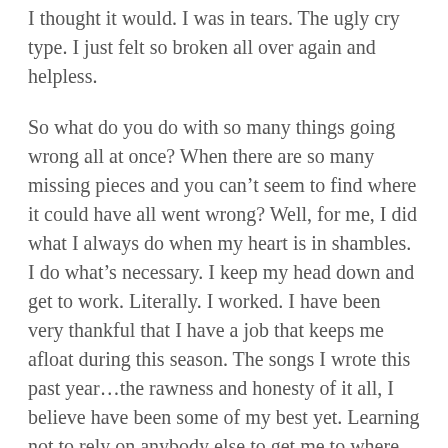I thought it would. I was in tears. The ugly cry type. I just felt so broken all over again and helpless.
So what do you do with so many things going wrong all at once? When there are so many missing pieces and you can't seem to find where it could have all went wrong? Well, for me, I did what I always do when my heart is in shambles. I do what's necessary. I keep my head down and get to work. Literally. I worked. I have been very thankful that I have a job that keeps me afloat during this season. The songs I wrote this past year…the rawness and honesty of it all, I believe have been some of my best yet. Learning not to rely on anybody else to get me to where only God can lead me. Learning to be thankful. Learning to be content. Learning to trust all over again. Learning to let go of what I can't control and make room for the possibilities of the new. Learning to hope even when it scares the crap out of me because I honestly don't know if I can take anymore heartbreak or